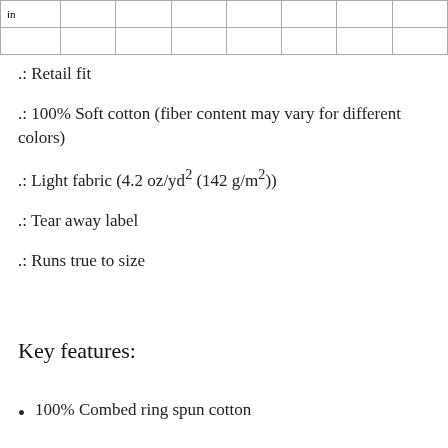| in |  |  |  |  |  |  |  |
| --- | --- | --- | --- | --- | --- | --- | --- |
|  |  |  |  |  |  |  |  |
.: Retail fit
.: 100% Soft cotton (fiber content may vary for different colors)
.: Light fabric (4.2 oz/yd² (142 g/m²))
.: Tear away label
.: Runs true to size
Key features:
100% Combed ring spun cotton